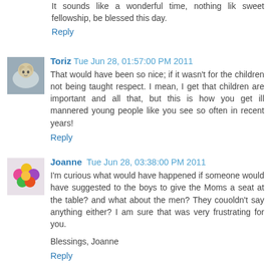It sounds like a wonderful time, nothing lik sweet fellowship, be blessed this day.
Reply
[Figure (photo): Avatar photo of Toriz, showing a dog on a beach]
Toriz  Tue Jun 28, 01:57:00 PM 2011
That would have been so nice; if it wasn't for the children not being taught respect. I mean, I get that children are important and all that, but this is how you get ill mannered young people like you see so often in recent years!
Reply
[Figure (photo): Avatar photo of Joanne, showing flowers]
Joanne  Tue Jun 28, 03:38:00 PM 2011
I'm curious what would have happened if someone would have suggested to the boys to give the Moms a seat at the table? and what about the men? They couoldn't say anything either? I am sure that was very frustrating for you.

Blessings, Joanne
Reply